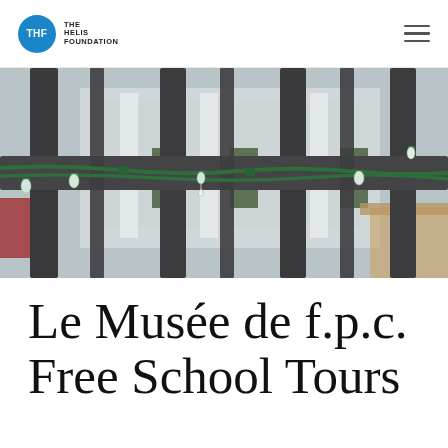THF The Helis Foundation
[Figure (photo): Close-up photograph of dark iron fence rails with green Christmas/holiday string lights wrapped around a horizontal bar, with a blurred classical building facade visible in the background.]
Le Musée de f.p.c. Free School Tours